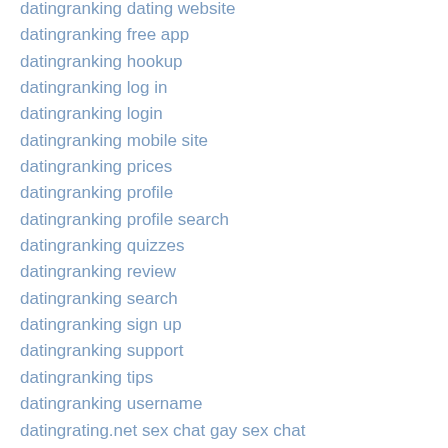datingranking dating website
datingranking free app
datingranking hookup
datingranking log in
datingranking login
datingranking mobile site
datingranking prices
datingranking profile
datingranking profile search
datingranking quizzes
datingranking review
datingranking search
datingranking sign up
datingranking support
datingranking tips
datingranking username
datingrating.net sex chat gay sex chat
datingrating.net EN The Best Lesbian Dating Site